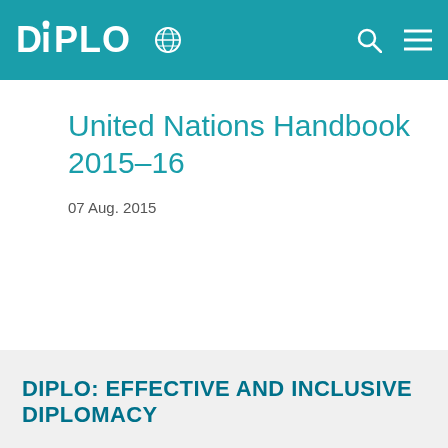DIPLO
United Nations Handbook 2015–16
07 Aug. 2015
DIPLO: EFFECTIVE AND INCLUSIVE DIPLOMACY
Diplo is a non-profit foundation established by the